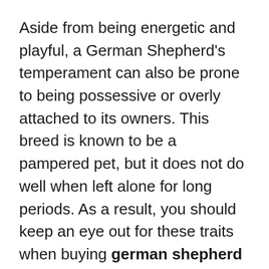Aside from being energetic and playful, a German Shepherd's temperament can also be prone to being possessive or overly attached to its owners. This breed is known to be a pampered pet, but it does not do well when left alone for long periods. As a result, you should keep an eye out for these traits when buying german shepherd puppies for adoption. It's important to consider your lifestyle and the lifestyle of your new dog before making a decision.